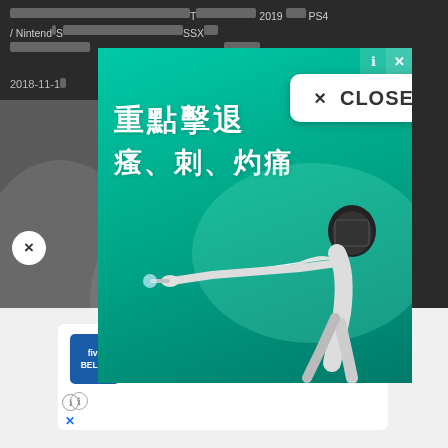[censored text] T[censored] 2019 [censored] PS4 / Nintendo [censored] SSX[censored] [censored]
2018-11-19
[Figure (screenshot): Popup advertisement with teal/green background showing Chinese text '重點擊退' and '瘙、刺、灼痛' with a fencer in white protective gear lunging with a sword. Includes a white CLOSE button in top right.]
[Figure (screenshot): Five Below store ad showing logo, Leesburg location, OPEN 10:00-21:00, 530 Fort Evans Road Northeas..., with navigation arrow icon]
Leesburg  OPEN  10:00 – 21:00
530 Fort Evans Road Northeas...